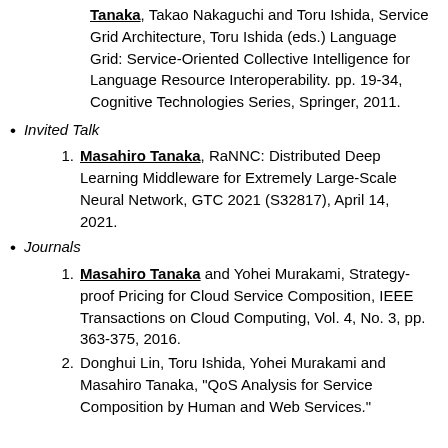Tanaka, Takao Nakaguchi and Toru Ishida, Service Grid Architecture, Toru Ishida (eds.) Language Grid: Service-Oriented Collective Intelligence for Language Resource Interoperability. pp. 19-34, Cognitive Technologies Series, Springer, 2011.
Invited Talk
Masahiro Tanaka, RaNNC: Distributed Deep Learning Middleware for Extremely Large-Scale Neural Network, GTC 2021 (S32817), April 14, 2021.
Journals
Masahiro Tanaka and Yohei Murakami, Strategy-proof Pricing for Cloud Service Composition, IEEE Transactions on Cloud Computing, Vol. 4, No. 3, pp. 363-375, 2016.
Donghui Lin, Toru Ishida, Yohei Murakami and Masahiro Tanaka, "QoS Analysis for Service Composition by Human and Web Services."